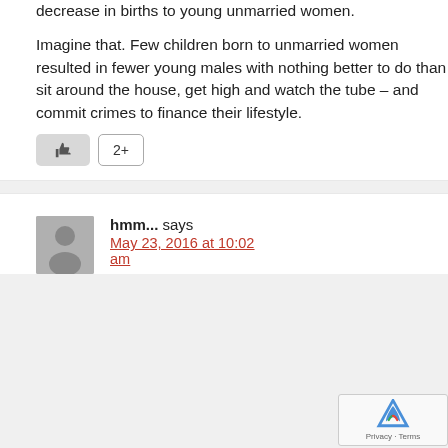decrease in births to young unmarried women.
Imagine that. Few children born to unmarried women resulted in fewer young males with nothing better to do than sit around the house, get high and watch the tube – and commit crimes to finance their lifestyle.
[Figure (other): Like button with thumbs up icon and a count button showing '2+']
hmm... says
May 23, 2016 at 10:02 am